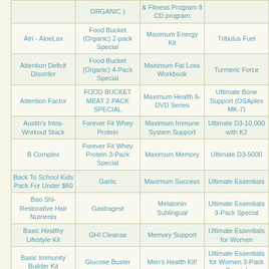| Col1 | Col2 | Col3 | Col4 |
| --- | --- | --- | --- |
| (top row partial) | ORGANIC ) | & Fitness Program 8 CD program |  |
| Atri - AloeLax | Food Bucket (Organic) 2-pack Special | Maximum Energy Kit | Tribulus Fuel |
| Attention Deficit Disorder | Food Bucket (Organic) 4-Pack Special | Maximum Fat Loss Workbook | Turmeric Force |
| Attention Factor | FOOD BUCKET MEAT 2-PACK SPECIAL | Maximum Health 6-DVD Series | Ultimate Bone Support (OSAplex MK-7) |
| Austin's Intra-Workout Stack | Forever Fit Whey Protein | Maximum Immune System Support | Ultimate D3-10,000 with K2 |
| B Complex | Forever Fit Whey Protein 3-Pack Special | Maximum Memory | Ultimate D3-5000 |
| Back To School Kids Pack For Under $60 | Garlic | Maximum Success | Ultimate Essentials |
| Bao Shi- Restorative Hair Nutrients | Gastragest | Melatonin Sublingual | Ultimate Essentials 3-Pack Special |
| Basic Healthy Lifestyle Kit | GHI Cleanse | Memory Support | Ultimate Essentials for Women |
| Basic Immunity Builder Kit | Glucose Buster | Men's Health Kit! | Ultimate Essentials for Women 3-Pack Special |
| Beet Juice Powder - | Greenlife Tablets | Menopause Support | Ultimate Estrogen Blocker |